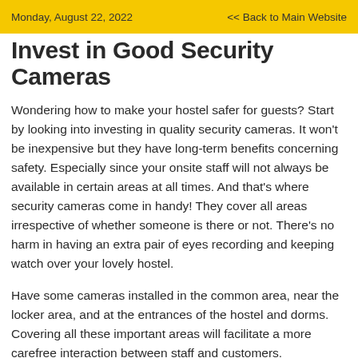Monday, August 22, 2022   << Back to Main Website
Invest in Good Security Cameras
Wondering how to make your hostel safer for guests? Start by looking into investing in quality security cameras. It won't be inexpensive but they have long-term benefits concerning safety. Especially since your onsite staff will not always be available in certain areas at all times. And that's where security cameras come in handy! They cover all areas irrespective of whether someone is there or not. There's no harm in having an extra pair of eyes recording and keeping watch over your lovely hostel.
Have some cameras installed in the common area, near the locker area, and at the entrances of the hostel and dorms. Covering all these important areas will facilitate a more carefree interaction between staff and customers.